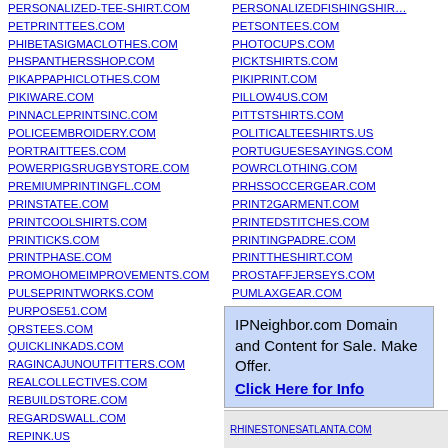PERSONALIZED-TEE-SHIRT.COM
PETPRINTTEES.COM
PHIBETASIGMACLOTHES.COM
PHSPANTHERSSHOP.COM
PIKAPPAPHICLOTHES.COM
PIKIWARE.COM
PINNACLEPRINTSINC.COM
POLICEEMBROIDERY.COM
PORTRAITTEES.COM
POWERPIGSRUGBYSTORE.COM
PREMIUMPRINTINGFL.COM
PRINSTATEE.COM
PRINTCOOLSHIRTS.COM
PRINTICKS.COM
PRINTPHASE.COM
PROMOHOMEIMPROVEMENTS.COM
PULSEPRINTWORKS.COM
PURPOSE51.COM
QRSTEES.COM
QUICKLINKADS.COM
RAGINCAJUNOUTFITTERS.COM
REALCOLLECTIVES.COM
REBUILDSTORE.COM
REGARDSWALL.COM
REPINK.US
RESOLUTIONBOOSTER.COM
RETROTEES4U.COM
RHINESTONESATLANTA.COM
PERSONALIZEDFISHINGSHIRTS.COM
PETSONTEES.COM
PHOTOCUPS.COM
PICKTSHIRTS.COM
PIKIPRINT.COM
PILLOW4US.COM
PITTSTSHIRTS.COM
POLITICALTEESHIRTS.US
PORTUGUESESAYINGS.COM
POWRCLOTHING.COM
PRHSSOCCERGEAR.COM
PRINT2GARMENT.COM
PRINTEDSTITCHES.COM
PRINTINGPADRE.COM
PRINTTHESHIRT.COM
PROSTAFFJERSEYS.COM
PUMLAXGEAR.COM
Q-DOHA.COM
QUANTITYIMPRINTSERVICES.COM
RACINGFLIPFLOPS.COM
RAGINCAJUNPRINCESS.COM
REALTORS-TOOLBOX.COM
RED8PRINTING.COM
IPNeighbor.com Domain and Content for Sale. Make Offer. Click Here for Info